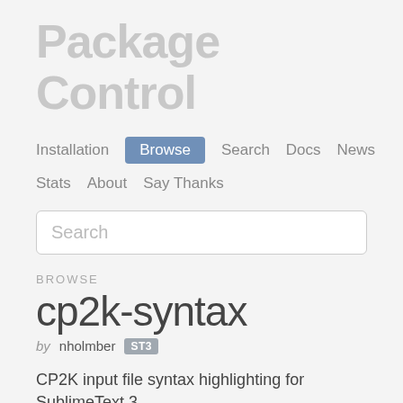Package Control
Installation  Browse  Search  Docs  News  Stats  About  Say Thanks
Search
BROWSE
cp2k-syntax
by nholmber  ST3
CP2K input file syntax highlighting for SublimeText 3
LABELS  language syntax, linting